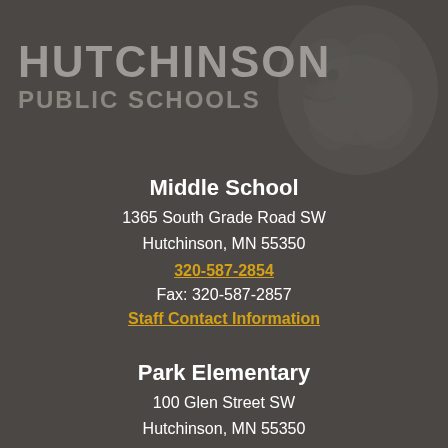HUTCHINSON PUBLIC SCHOOLS
Middle School
1365 South Grade Road SW
Hutchinson, MN 55350
320-587-2854
Fax: 320-587-2857
Staff Contact Information
Park Elementary
100 Glen Street SW
Hutchinson, MN 55350
320-587-2837
Fax: 320-587-4821